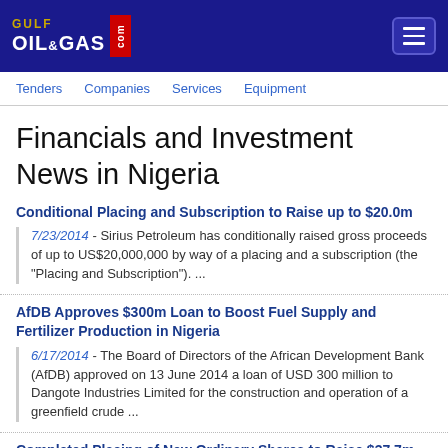GULF OIL&GAS .com
Tenders   Companies   Services   Equipment
Financials and Investment News in Nigeria
Conditional Placing and Subscription to Raise up to $20.0m
7/23/2014 - Sirius Petroleum has conditionally raised gross proceeds of up to US$20,000,000 by way of a placing and a subscription (the "Placing and Subscription"). ...
AfDB Approves $300m Loan to Boost Fuel Supply and Fertilizer Production in Nigeria
6/17/2014 - The Board of Directors of the African Development Bank (AfDB) approved on 13 June 2014 a loan of USD 300 million to Dangote Industries Limited for the construction and operation of a greenfield crude ...
Completed Placing of New Ordinary Shares to Raise $37.7m